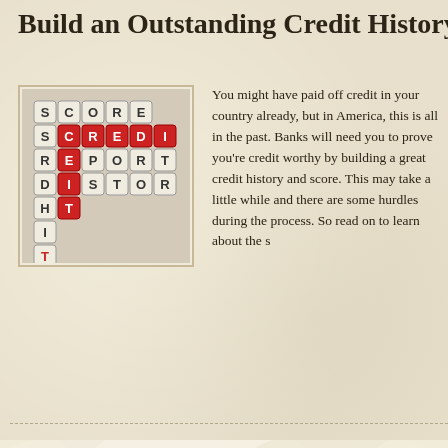Build an Outstanding Credit History
[Figure (photo): Crossword-style letter tiles spelling out SCORE, CREDIT, REPORT, HISTORY with red tiles for CREDIT]
You might have paid off credit in your country already, but in America, this is all in the past. Banks will need you to prove you're credit worthy by building a great credit history and score. This may take a little while and there are some hurdles during the process. So read on to learn about the s...